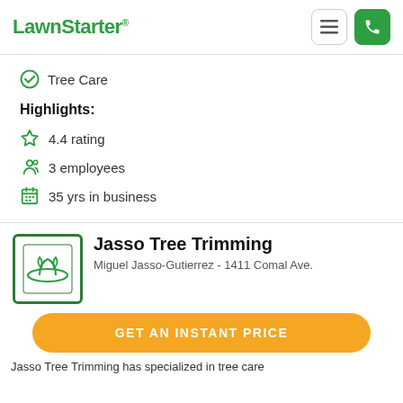LawnStarter
Tree Care
Highlights:
4.4 rating
3 employees
35 yrs in business
Jasso Tree Trimming
Miguel Jasso-Gutierrez - 1411 Comal Ave.
GET AN INSTANT PRICE
Jasso Tree Trimming has specialized in tree care